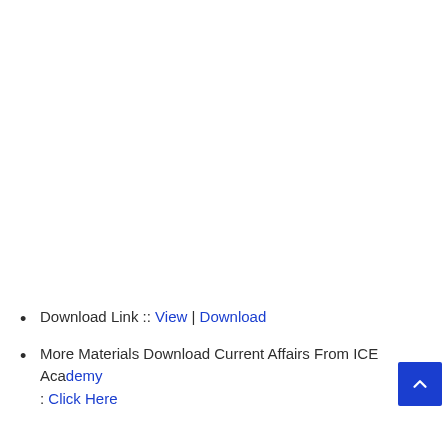Download Link :: View | Download
More Materials Download Current Affairs From ICE Acad... : Click Here